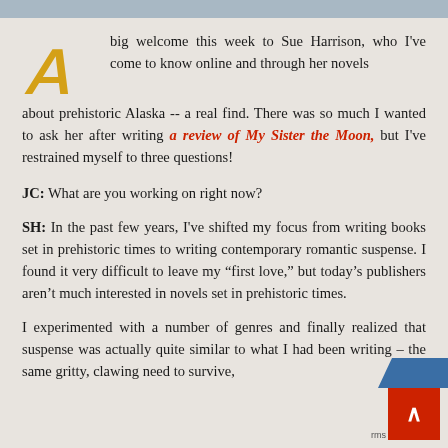A big welcome this week to Sue Harrison, who I've come to know online and through her novels about prehistoric Alaska -- a real find. There was so much I wanted to ask her after writing a review of My Sister the Moon, but I've restrained myself to three questions!
JC: What are you working on right now?
SH: In the past few years, I've shifted my focus from writing books set in prehistoric times to writing contemporary romantic suspense. I found it very difficult to leave my "first love," but today's publishers aren't much interested in novels set in prehistoric times.
I experimented with a number of genres and finally realized that suspense was actually quite similar to what I had been writing – the same gritty, clawing need to survive,